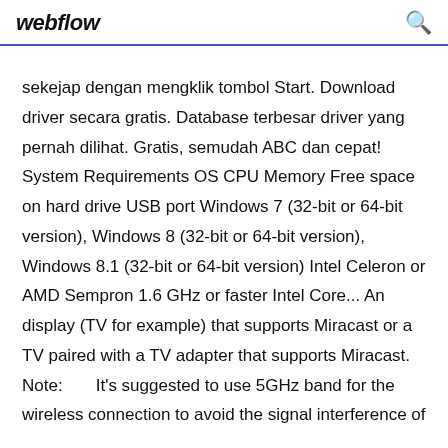webflow
sekejap dengan mengklik tombol Start. Download driver secara gratis. Database terbesar driver yang pernah dilihat. Gratis, semudah ABC dan cepat! System Requirements OS CPU Memory Free space on hard drive USB port Windows 7 (32-bit or 64-bit version), Windows 8 (32-bit or 64-bit version), Windows 8.1 (32-bit or 64-bit version) Intel Celeron or AMD Sempron 1.6 GHz or faster Intel Core... An display (TV for example) that supports Miracast or a TV paired with a TV adapter that supports Miracast.    Note:       It's suggested to use 5GHz band for the wireless connection to avoid the signal interference of